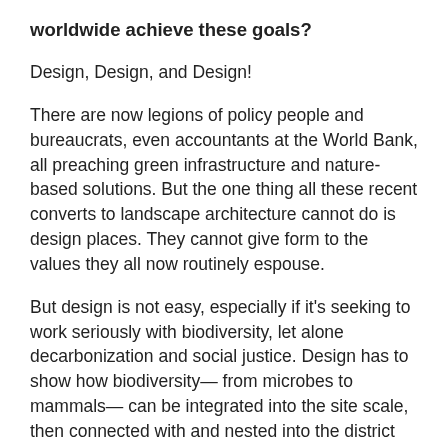worldwide achieve these goals?
Design, Design, and Design!
There are now legions of policy people and bureaucrats, even accountants at the World Bank, all preaching green infrastructure and nature-based solutions. But the one thing all these recent converts to landscape architecture cannot do is design places. They cannot give form to the values they all now routinely espouse.
But design is not easy, especially if it's seeking to work seriously with biodiversity, let alone decarbonization and social justice. Design has to show how biodiversity— from microbes to mammals— can be integrated into the site scale, then connected with and nested into the district scale, the regional, the national, and, ultimately, the planetary scale. And then it has to situate the human in that network – not just as voyeurs in photoshop, but as active agents in ecosystem construction and